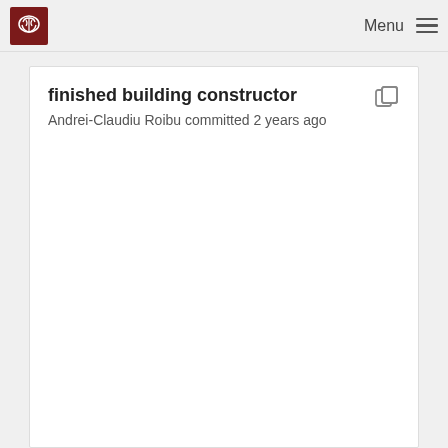Menu
finished building constructor
Andrei-Claudiu Roibu committed 2 years ago